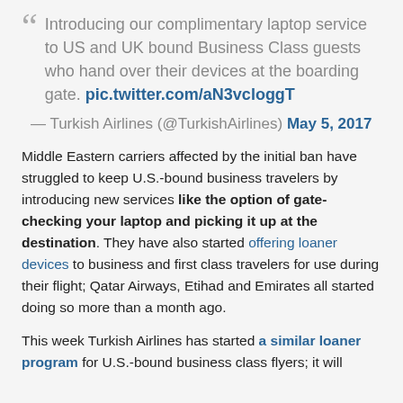“ Introducing our complimentary laptop service to US and UK bound Business Class guests who hand over their devices at the boarding gate. pic.twitter.com/aN3vcloggT
— Turkish Airlines (@TurkishAirlines) May 5, 2017
Middle Eastern carriers affected by the initial ban have struggled to keep U.S.-bound business travelers by introducing new services like the option of gate-checking your laptop and picking it up at the destination. They have also started offering loaner devices to business and first class travelers for use during their flight; Qatar Airways, Etihad and Emirates all started doing so more than a month ago.
This week Turkish Airlines has started a similar loaner program for U.S.-bound business class flyers; it will